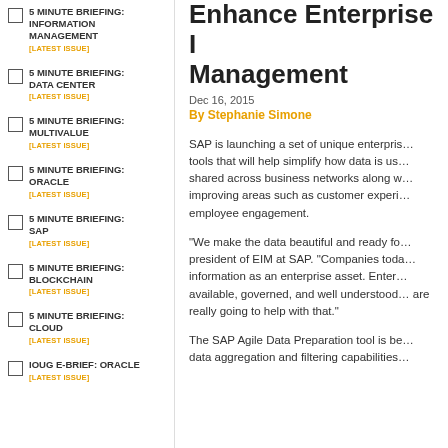5 MINUTE BRIEFING: INFORMATION MANAGEMENT [LATEST ISSUE]
5 MINUTE BRIEFING: DATA CENTER [LATEST ISSUE]
5 MINUTE BRIEFING: MULTIVALUE [LATEST ISSUE]
5 MINUTE BRIEFING: ORACLE [LATEST ISSUE]
5 MINUTE BRIEFING: SAP [LATEST ISSUE]
5 MINUTE BRIEFING: BLOCKCHAIN [LATEST ISSUE]
5 MINUTE BRIEFING: CLOUD [LATEST ISSUE]
IOUG E-BRIEF: ORACLE [LATEST ISSUE]
Enhance Enterprise Information Management
Dec 16, 2015
By Stephanie Simone
SAP is launching a set of unique enterprise tools that will help simplify how data is used and shared across business networks along with improving areas such as customer experience and employee engagement.
"We make the data beautiful and ready for…" president of EIM at SAP. "Companies today treat information as an enterprise asset. Enterprise available, governed, and well understood… are really going to help with that."
The SAP Agile Data Preparation tool is be… data aggregation and filtering capabilities…